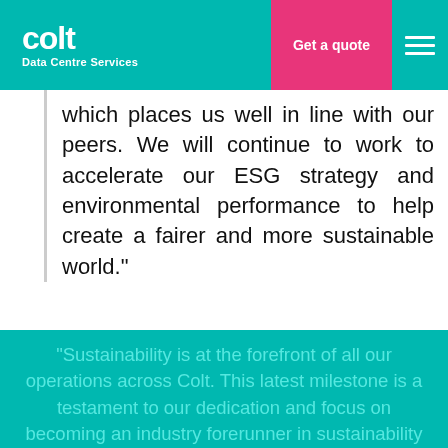colt Data Centre Services | Get a quote
which places us well in line with our peers. We will continue to work to accelerate our ESG strategy and environmental performance to help create a fairer and more sustainable world."
"Sustainability is at the forefront of all our operations across Colt. This latest milestone is a testament to our dedication and focus on becoming an industry forerunner in sustainability and driving change in our market. This is a